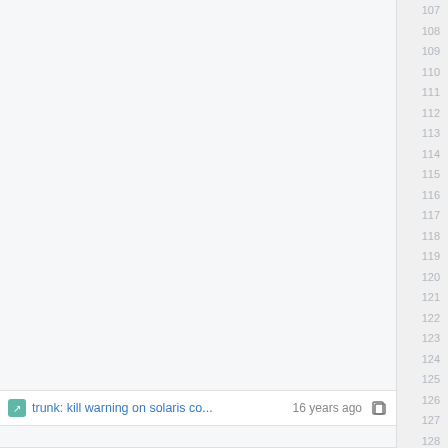107 108 109 110 111 112 113 114 115 116 117 118 119 120 121 122 123 124 125 126 127 128
trunk: kill warning on solaris co... 16 years ago
initial import to online git-svn-i... 17 years ago